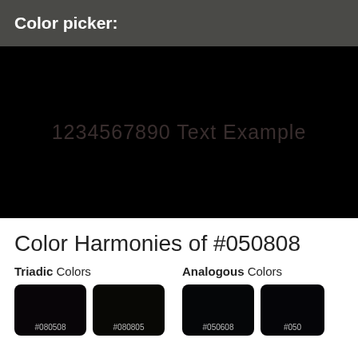Color picker:
[Figure (other): Color preview area showing a nearly black color #050808 with faint watermark text '1234567890 Text Example']
Color Harmonies of #050808
Triadic Colors
Analogous Colors
[Figure (other): Color swatch #080508]
[Figure (other): Color swatch #080805]
[Figure (other): Color swatch #050608]
[Figure (other): Color swatch #050508 (partially visible)]